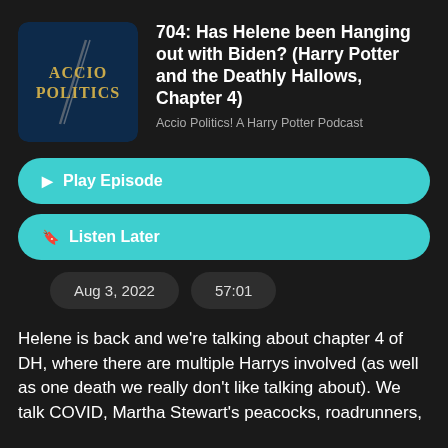[Figure (logo): Accio Politics podcast logo — dark blue background with gold text 'ACCIO POLITICS' and a lightning bolt graphic]
704: Has Helene been Hanging out with Biden? (Harry Potter and the Deathly Hallows, Chapter 4)
Accio Politics! A Harry Potter Podcast
▶ Play Episode
🔖 Listen Later
Aug 3, 2022
57:01
Helene is back and we're talking about chapter 4 of DH, where there are multiple Harrys involved (as well as one death we really don't like talking about). We talk COVID, Martha Stewart's peacocks, roadrunners,